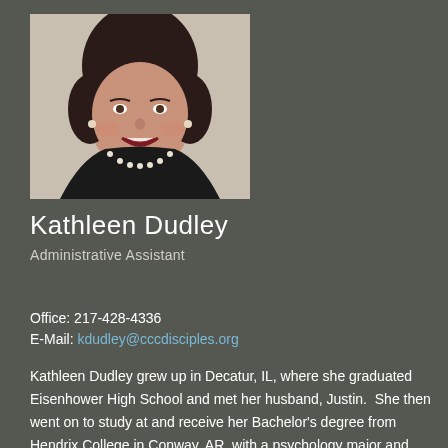[Figure (photo): Headshot portrait of Kathleen Dudley, a woman with short dark hair, wearing a black top and pearl necklace, smiling against a light background.]
Kathleen Dudley
Administrative Assistant
Office: 217-428-4336
E-Mail: kdudley@cccdisciples.org
Kathleen Dudley grew up in Decatur, IL, where she graduated Eisenhower High School and met her husband, Justin.  She then went on to study at and receive her Bachelor's degree from Hendrix College in Conway, AR, with a psychology major and religion minor.  Kathleen joined the Central Christian Church